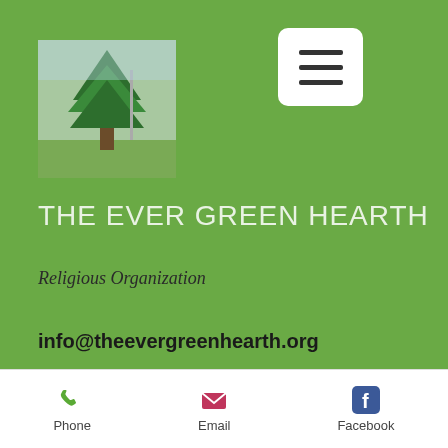[Figure (screenshot): Mobile website screenshot showing The Ever Green Hearth religious organization page with green navigation panel overlay, tree photo, hamburger menu button, site title, subtitle, email address, partial body text about casino content, and bottom navigation bar with Phone, Email, Facebook buttons.]
THE EVER GREEN HEARTH
Religious Organization
info@theevergreenhearth.org
all of this is possible without even depositing a penny, watch free nascar foxwoods resort casino. Whenever a symbol is freed, Lucky Larry will multiply the bonus progressively. When the round is over, winnings are summed up with the pre-existing balance. Here, players must catch all the symbols. Three combinations in
Phone   Email   Facebook